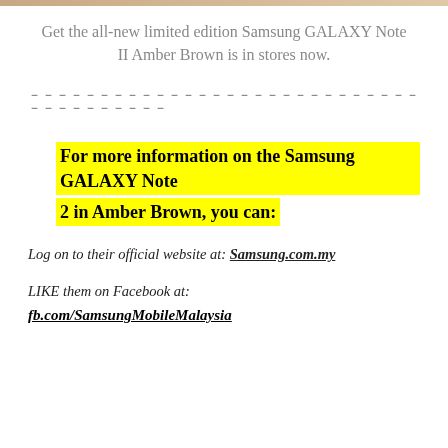[Figure (other): Top decorative gradient bar in amber/brown tones]
Get the all-new limited edition Samsung GALAXY Note II Amber Brown is in stores now.
－－－－－－－－－－－－－－－－－－－－－－－－－－－－－－－－－－－－－－－－
For more information on the Samsung GALAXY Note 2 in Amber Brown, you can:
Log on to their official website at: Samsung.com.my
LIKE them on Facebook at:
fb.com/SamsungMobileMalaysia